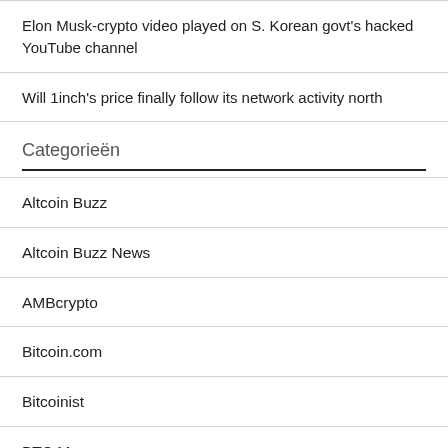Elon Musk-crypto video played on S. Korean govt's hacked YouTube channel
Will 1inch's price finally follow its network activity north
Categorieën
Altcoin Buzz
Altcoin Buzz News
AMBcrypto
Bitcoin.com
Bitcoinist
BTC Manager